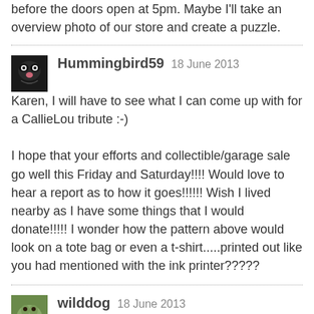before the doors open at 5pm. Maybe I'll take an overview photo of our store and create a puzzle.
Hummingbird59 18 June 2013
Karen, I will have to see what I can come up with for a CallieLou tribute :-)

I hope that your efforts and collectible/garage sale go well this Friday and Saturday!!!! Would love to hear a report as to how it goes!!!!!! Wish I lived nearby as I have some things that I would donate!!!!! I wonder how the pattern above would look on a tote bag or even a t-shirt.....printed out like you had mentioned with the ink printer?????
wilddog 18 June 2013
Kathy, the puzzle was very pretty and fun to solve. You have your stained glass puzzles down pat. There should be a dog stained glass puzzle in honor of Callie Lou. I started following your puzzles